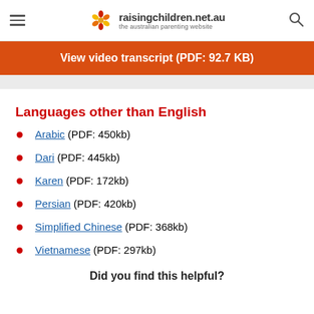raisingchildren.net.au — the australian parenting website
View video transcript (PDF: 92.7 KB)
Languages other than English
Arabic (PDF: 450kb)
Dari (PDF: 445kb)
Karen (PDF: 172kb)
Persian (PDF: 420kb)
Simplified Chinese (PDF: 368kb)
Vietnamese (PDF: 297kb)
Did you find this helpful?